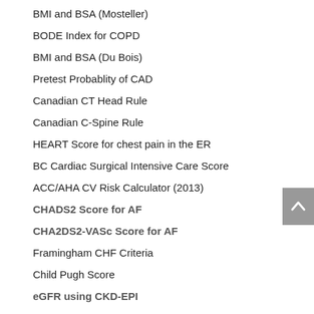BMI and BSA (Mosteller)
BODE Index for COPD
BMI and BSA (Du Bois)
Pretest Probablity of CAD
Canadian CT Head Rule
Canadian C-Spine Rule
HEART Score for chest pain in the ER
BC Cardiac Surgical Intensive Care Score
ACC/AHA CV Risk Calculator (2013)
CHADS2 Score for AF
CHA2DS2-VASc Score for AF
Framingham CHF Criteria
Child Pugh Score
eGFR using CKD-EPI
CMML Prognostic Scoring Systems (from Spain and